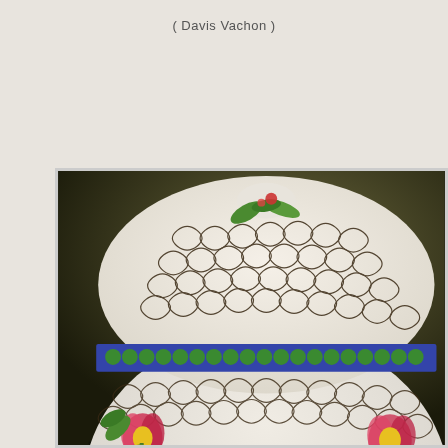( Davis Vachon )
[Figure (photo): Close-up photograph of a decorative cloisonné ceramic ginger jar showing the lid and upper body. The piece features an intricate white lattice/quatrefoil pattern on the lid and body, with colorful floral decorations including red, pink, and yellow flowers with green leaves. A blue and green scalloped border separates the domed lid from the body. The background is dark olive/brown.]